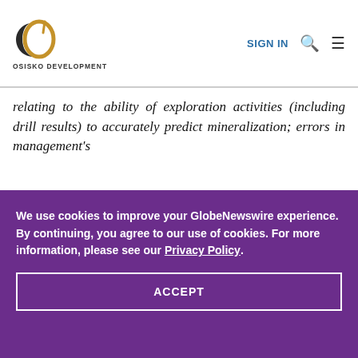OSISKO DEVELOPMENT | SIGN IN
relating to the ability of exploration activities (including drill results) to accurately predict mineralization; errors in management's
We use cookies to improve your GlobeNewswire experience. By continuing, you agree to our use of cookies. For more information, please see our Privacy Policy.
ACCEPT